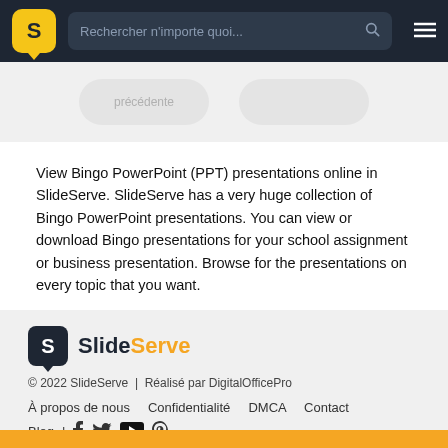Rechercher n'importe quoi...
View Bingo PowerPoint (PPT) presentations online in SlideServe. SlideServe has a very huge collection of Bingo PowerPoint presentations. You can view or download Bingo presentations for your school assignment or business presentation. Browse for the presentations on every topic that you want.
© 2022 SlideServe | Réalisé par DigitalOfficePro
À propos de nous   Confidentialité   DMCA   Contact
Blog  |  f  tw  yt  p